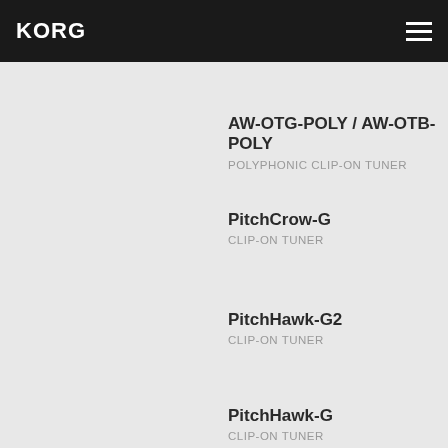KORG
AW-OTG-POLY / AW-OTB-POLY
POLYPHONIC CLIP-ON TUNER
PitchCrow-G
CLIP-ON TUNER
PitchHawk-G2
CLIP-ON TUNER
PitchHawk-G
CLIP-ON TUNER